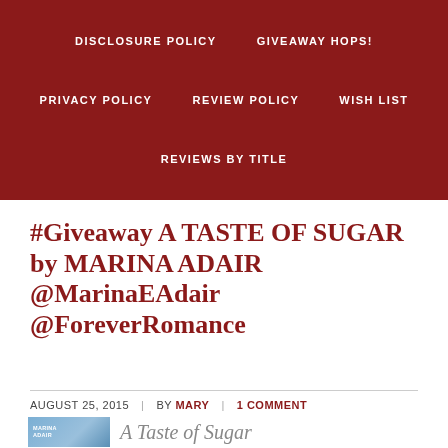DISCLOSURE POLICY | GIVEAWAY HOPS! | PRIVACY POLICY | REVIEW POLICY | WISH LIST | REVIEWS BY TITLE
#Giveaway A TASTE OF SUGAR by MARINA ADAIR @MarinaEAdair @ForeverRomance
AUGUST 25, 2015 | BY MARY | 1 COMMENT
[Figure (photo): Book cover for A Taste of Sugar by Marina Adair with decorative script title text]